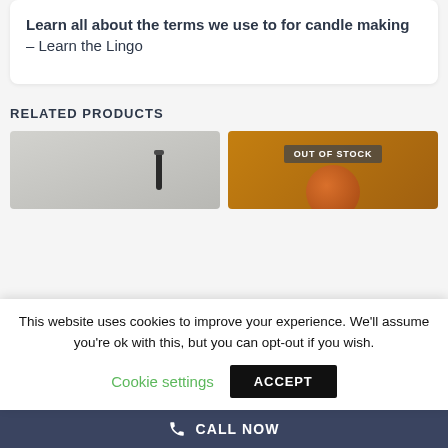Learn all about the terms we use to for candle making  – Learn the Lingo
RELATED PRODUCTS
[Figure (photo): Two product images side by side: left shows a candle wick on gray background, right shows a product on orange/amber background with an 'OUT OF STOCK' badge overlay]
This website uses cookies to improve your experience. We'll assume you're ok with this, but you can opt-out if you wish.
Cookie settings   ACCEPT
CALL NOW